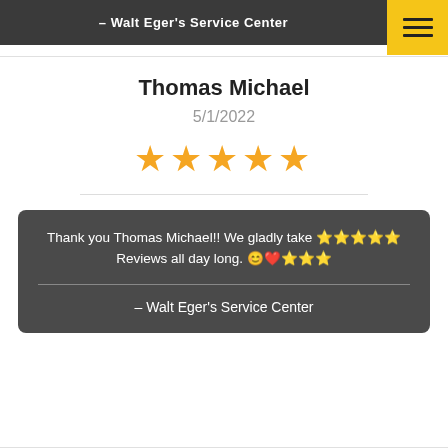– Walt Eger's Service Center
Thomas Michael
5/1/2022
[Figure (other): Five yellow star rating icons]
Thank you Thomas Michael!! We gladly take ⭐⭐⭐⭐⭐ Reviews all day long. 😊❤️⭐⭐⭐
– Walt Eger's Service Center